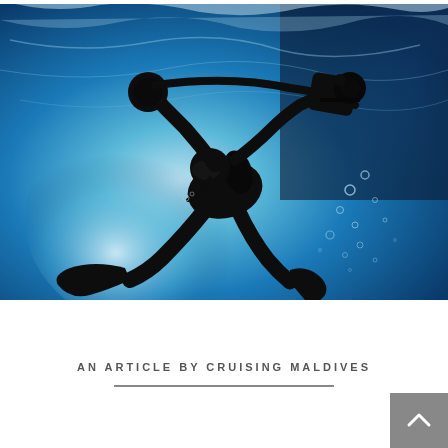[Figure (photo): Underwater silhouette of a scuba diver photographed from below, holding diving equipment including a camera rig, with fins visible. Bright blue water surrounds the diver with sunlight filtering up from below and air bubbles visible to the right.]
AN ARTICLE BY CRUISING MALDIVES